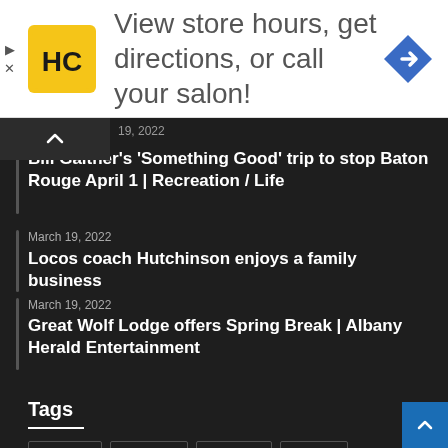[Figure (infographic): Advertisement banner with HC salon logo (yellow square with HC initials) and navigation arrow icon. Text reads: View store hours, get directions, or call your salon!]
19, 2022
Bill Gaither's 'Something Good' trip to stop Baton Rouge April 1 | Recreation / Life
March 19, 2022
Locos coach Hutchinson enjoys a family business
March 19, 2022
Great Wolf Lodge offers Spring Break | Albany Herald Entertainment
Tags
baseball
Breaking
dailymail
football
Major League baseball
Manchester United
MLB
MMA